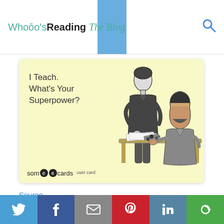Whooo's Reading The Blog
[Figure (illustration): Someecards-style vintage illustration: a person standing and gesturing at a seated person at a desk, with text 'I Teach. What's Your Superpower?' on yellow background. Someecards user card logo at bottom left.]
Source
THE “I CAN’T KEEP UP WITH ALL THESE
Twitter | Facebook | Email | Pinterest | LinkedIn | More